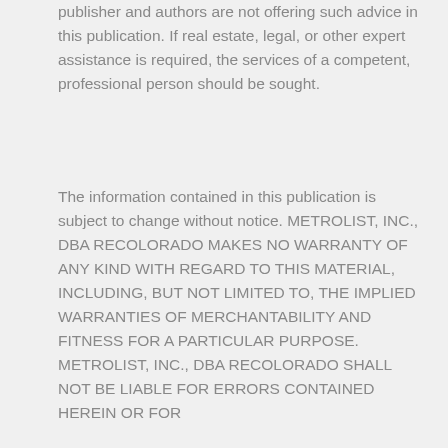publisher and authors are not offering such advice in this publication. If real estate, legal, or other expert assistance is required, the services of a competent, professional person should be sought.
The information contained in this publication is subject to change without notice. METROLIST, INC., DBA RECOLORADO MAKES NO WARRANTY OF ANY KIND WITH REGARD TO THIS MATERIAL, INCLUDING, BUT NOT LIMITED TO, THE IMPLIED WARRANTIES OF MERCHANTABILITY AND FITNESS FOR A PARTICULAR PURPOSE. METROLIST, INC., DBA RECOLORADO SHALL NOT BE LIABLE FOR ERRORS CONTAINED HEREIN OR FOR